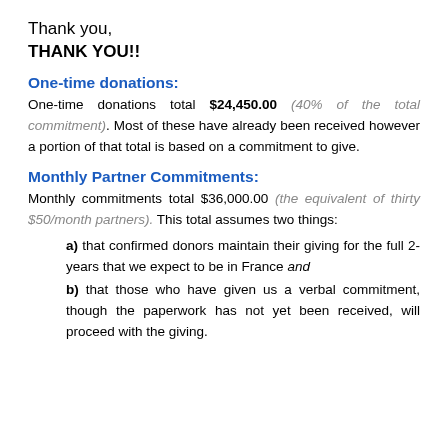Thank you, THANK YOU!!
One-time donations:
One-time donations total $24,450.00 (40% of the total commitment). Most of these have already been received however a portion of that total is based on a commitment to give.
Monthly Partner Commitments:
Monthly commitments total $36,000.00 (the equivalent of thirty $50/month partners). This total assumes two things:
a) that confirmed donors maintain their giving for the full 2-years that we expect to be in France and
b) that those who have given us a verbal commitment, though the paperwork has not yet been received, will proceed with the giving.